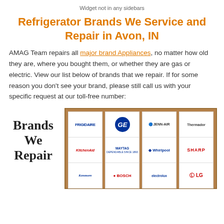Widget not in any sidebars
Refrigerator Brands We Service and Repair in Avon, IN
AMAG Team repairs all major brand Appliances, no matter how old they are, where you bought them, or whether they are gas or electric. View our list below of brands that we repair. If for some reason you don’t see your brand, please still call us with your specific request at our toll-free number:
[Figure (infographic): A grid image showing appliance brand logos including Frigidaire, GE, Jenn-Air, Thermador, KitchenAid, Maytag, Whirlpool, Sharp, Kenmore, Bosch, Electrolux, LG on a brown/rustic background, with a 'Brands We Repair' label to the left.]